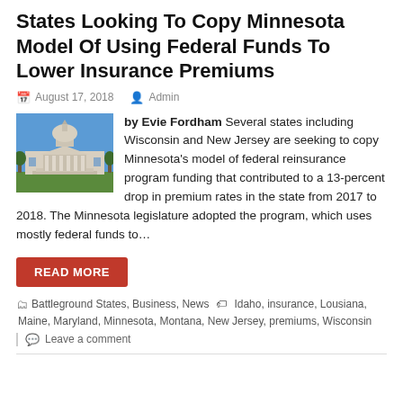States Looking To Copy Minnesota Model Of Using Federal Funds To Lower Insurance Premiums
August 17, 2018   Admin
by Evie Fordham   Several states including Wisconsin and New Jersey are seeking to copy Minnesota's model of federal reinsurance program funding that contributed to a 13-percent drop in premium rates in the state from 2017 to 2018. The Minnesota legislature adopted the program, which uses mostly federal funds to…
READ MORE
Battleground States, Business, News   Idaho, insurance, Lousiana, Maine, Maryland, Minnesota, Montana, New Jersey, premiums, Wisconsin
Leave a comment